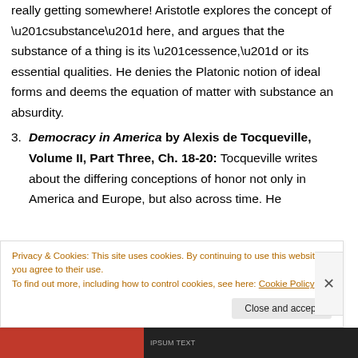really getting somewhere! Aristotle explores the concept of “substance” here, and argues that the substance of a thing is its “essence,” or its essential qualities. He denies the Platonic notion of ideal forms and deems the equation of matter with substance an absurdity.
3. Democracy in America by Alexis de Tocqueville, Volume II, Part Three, Ch. 18-20: Tocqueville writes about the differing conceptions of honor not only in America and Europe, but also across time. He
Privacy & Cookies: This site uses cookies. By continuing to use this website, you agree to their use.
To find out more, including how to control cookies, see here: Cookie Policy